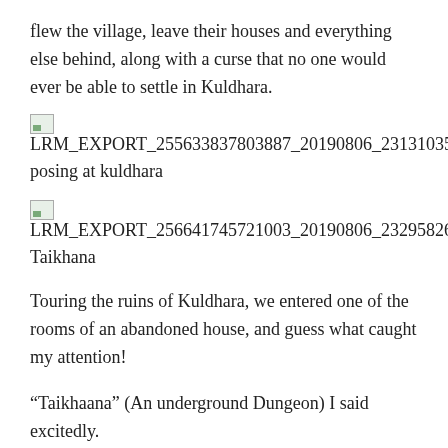flew the village, leave their houses and everything else behind, along with a curse that no one would ever be able to settle in Kuldhara.
[Figure (photo): Broken image placeholder with filename LRM_EXPORT_255633837803887_20190806_231310358]
posing at kuldhara
[Figure (photo): Broken image placeholder with filename LRM_EXPORT_256641745721003_20190806_232958266]
Taikhana
Touring the ruins of Kuldhara, we entered one of the rooms of an abandoned house, and guess what caught my attention!
“Taikhaana” (An underground Dungeon) I said excitedly.